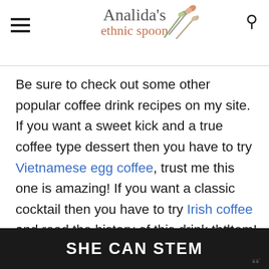Analida's ethnic spoon
Be sure to check out some other popular coffee drink recipes on my site. If you want a sweet kick and a true coffee type dessert then you have to try Vietnamese egg coffee, trust me this one is amazing! If you want a classic cocktail then you have to try Irish coffee and read the history of this drink that dates back to the early days of aviation in Foynes Ireland. Try a healthy non-coffee latte with this turmeric latte.  This is liquid gold!  Leave me a c[omment and let me know which ones you love the most!]
[Figure (other): Advertisement banner with dark background reading 'SHE CAN STEM' in bold white uppercase text]